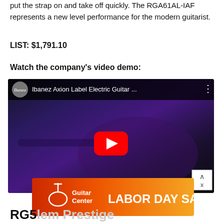put the strap on and take off quickly. The RGA61AL-IAF represents a new level performance for the modern guitarist.
LIST: $1,791.10
Watch the company's video demo:
[Figure (screenshot): YouTube video thumbnail for 'Ibanez Axion Label Electric Guitar ...' showing an electric guitar with a purple-blue finish on a dark background, with a red YouTube play button overlay and Ibanez channel logo in the top bar.]
[Figure (illustration): Guitar Center Labor Day Sale advertisement banner with Guitar Center logo and bold white text 'LABOR DAY SALE' on an orange-red gradient background.]
RG5...em Prestige